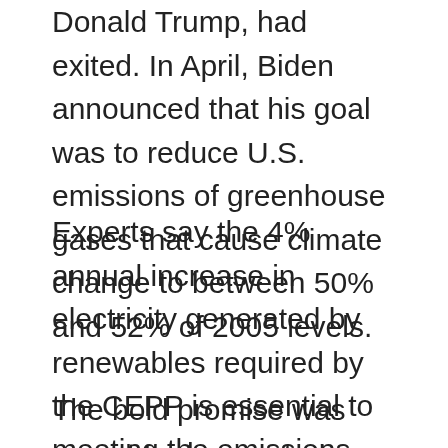Donald Trump, had exited. In April, Biden announced that his goal was to reduce U.S. emissions of greenhouse gases that cause climate change to between 50% and 52% of 2005 levels.
Experts say the 4% annual increase in electricity generated by renewables required by the CEPP is essential to meeting the emissions reduction goal.
The bold promise was meant to demonstrate renewed U.S. leadership